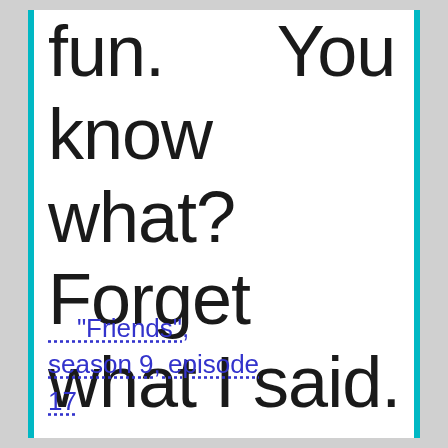fun.      You know  what? Forget  what I said.
"Friends", season 9, episode 17